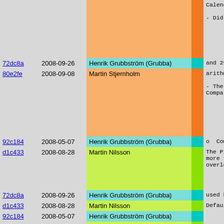| hash | date | author | bar | description |
| --- | --- | --- | --- | --- |
|  |  |  |  | Calenda
- Did away |
| 72dc8a | 2008-09-26 | Henrik Grubbström (Grubba) |  | and 29th |
| 80e2fe | 2008-09-08 | Martin Stjernholm |  | arithmetic
- The last
Compatib |
| 92c184 | 2008-05-07 | Henrik Grubbström (Grubba) |  | o CompilerEr |
| d1c433 | 2008-08-28 | Martin Nilsson |  | The Pike c
more trans
overloadin |
| 72dc8a | 2008-09-26 | Henrik Grubbström (Grubba) |  | used by Pi |
| d1c433 | 2008-08-28 | Martin Nilsson |  | DefaultCon |
| 92c184 | 2008-05-07 | Henrik Grubbström (Grubba) |  |  |
| 326a9d | 2007-02-23 | Martin Nilsson |  | o Debug |
| e399bc | 2007-11-11 | Martin Nilsson |  | The new fu
objects ex
pinpoint a
o Error |